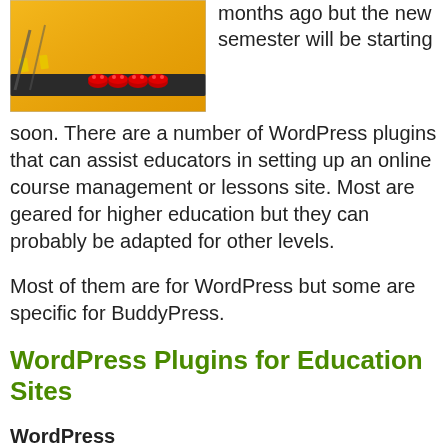[Figure (photo): Photo of what appears to be a toy or model train/vehicle track with red pieces on an orange surface]
months ago but the new semester will be starting soon. There are a number of WordPress plugins that can assist educators in setting up an online course management or lessons site. Most are geared for higher education but they can probably be adapted for other levels.
Most of them are for WordPress but some are specific for BuddyPress.
WordPress Plugins for Education Sites
WordPress
teachPress – teachPress is a plugin that is